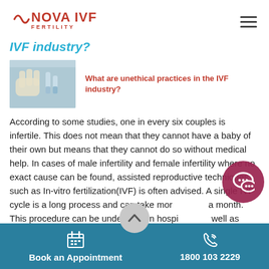NOVA IVF FERTILITY
IVF industry?
[Figure (photo): Medical/lab procedure image showing gloved hands with laboratory equipment, related to IVF]
What are unethical practices in the IVF industry?
According to some studies, one in every six couples is infertile. This does not mean that they cannot have a baby of their own but means that they cannot do so without medical help. In cases of male infertility and female infertility where no exact cause can be found, assisted reproductive techniques such as In-vitro fertilization(IVF) is often advised. A single IVF cycle is a long process and can take more than a month. This procedure can be undergone in hospitals as well as private clinics. IVF has helped to give birth to over a million babies. However, not everyone practicing IVF gives
Book an Appointment | 1800 103 2229